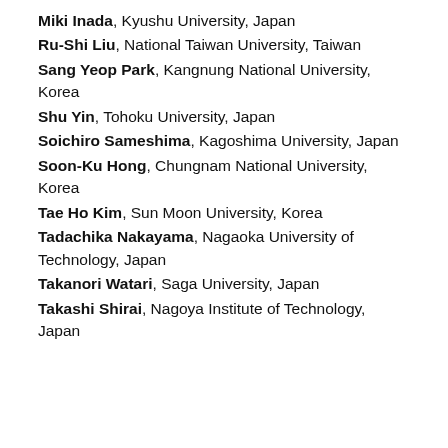Miki Inada, Kyushu University, Japan
Ru-Shi Liu, National Taiwan University, Taiwan
Sang Yeop Park, Kangnung National University, Korea
Shu Yin, Tohoku University, Japan
Soichiro Sameshima, Kagoshima University, Japan
Soon-Ku Hong, Chungnam National University, Korea
Tae Ho Kim, Sun Moon University, Korea
Tadachika Nakayama, Nagaoka University of Technology, Japan
Takanori Watari, Saga University, Japan
Takashi Shirai, Nagoya Institute of Technology, Japan